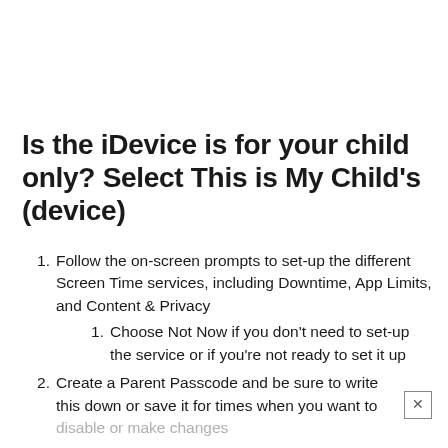Is the iDevice is for your child only? Select This is My Child’s (device)
Follow the on-screen prompts to set-up the different Screen Time services, including Downtime, App Limits, and Content & Privacy
1. Choose Not Now if you don’t need to set-up the service or if you’re not ready to set it up
Create a Parent Passcode and be sure to write this down or save it for times when you want to disable or make changes
1. If you forget your Screen Time passcode, see